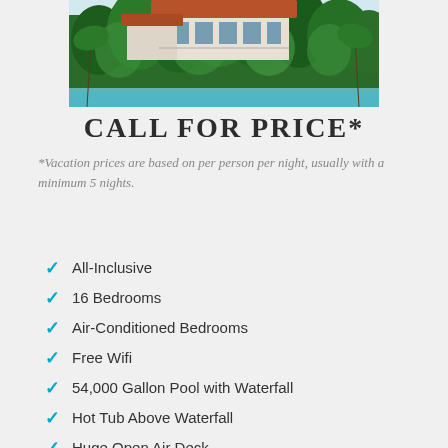[Figure (photo): Aerial/exterior photo of a tropical resort or villa with red-roofed buildings surrounded by lush green palm trees and tropical vegetation, with a partial view of a pool or water feature at the bottom.]
CALL FOR PRICE*
*Vacation prices are based on per person per night, usually with a minimum 5 nights.
All-Inclusive
16 Bedrooms
Air-Conditioned Bedrooms
Free Wifi
54,000 Gallon Pool with Waterfall
Hot Tub Above Waterfall
Huge Open Air Deck
Workout Area
Billard Table
Ping Pong table
Foosball Table
22ft Shuffleboard Table